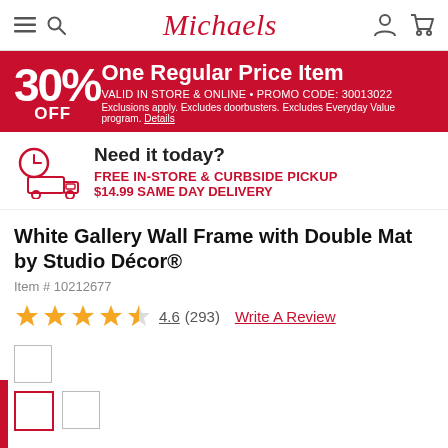Michaels
[Figure (infographic): 30% OFF One Regular Price Item promo banner. Valid in store & online. Promo code: 30013022. Exclusions apply. Excludes doorbusters. Excludes Everyday Value program.]
[Figure (infographic): Need it today? Free in-store & curbside pickup. $14.99 same day delivery. Clock and truck icon.]
White Gallery Wall Frame with Double Mat by Studio Décor®
Item # 10212677
4.6 (293)  Write A Review
[Figure (photo): Product thumbnail images - two small square thumbnail boxes visible, one selected with red border]